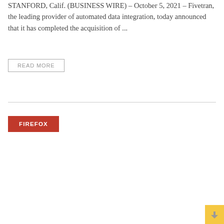STANFORD, Calif. (BUSINESS WIRE) – October 5, 2021 – Fivetran, the leading provider of automated data integration, today announced that it has completed the acquisition of ...
READ MORE
FIREFOX